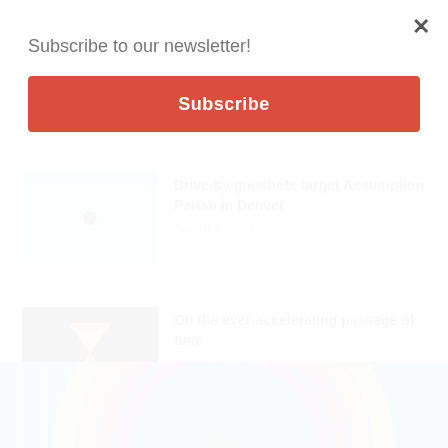Subscribe to our newsletter!
Subscribe
×
[Figure (photo): A bullet hole or crack in a light blue wall or surface]
Drive-by gunshots target Assumption Parish in Denver
August 9, 2022
[Figure (photo): An hourglass sitting on pebbles or sand with a warm sunset background]
On the ever-accelerating passage of time
August 10, 2022
[Figure (photo): A colorful mosaic tile artwork with circular rainbow pattern and a bird or animal figure]